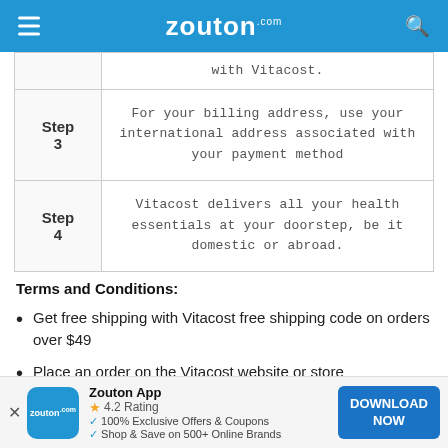zouton.com
| Step | Description |
| --- | --- |
| Step 3 | For your billing address, use your international address associated with your payment method |
| Step 4 | Vitacost delivers all your health essentials at your doorstep, be it domestic or abroad. |
Terms and Conditions:
Get free shipping with Vitacost free shipping code on orders over $49
Place an order on the Vitacost website or store